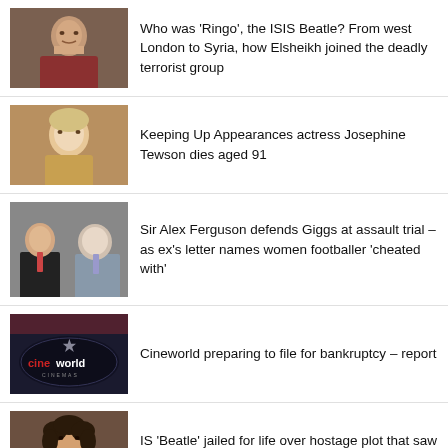[Figure (photo): Portrait photo of a man, dark complexion, appears to be Elsheikh]
Who was ‘Ringo’, the ISIS Beatle? From west London to Syria, how Elsheikh joined the deadly terrorist group
[Figure (photo): Photo of older woman with blonde hair, Josephine Tewson]
Keeping Up Appearances actress Josephine Tewson dies aged 91
[Figure (photo): Two men in suits, one younger and one older, related to Ryan Giggs / Alex Ferguson trial]
Sir Alex Ferguson defends Giggs at assault trial – as ex’s letter names women footballer ‘cheated with’
[Figure (photo): Cineworld cinema sign/logo on dark background]
Cineworld preparing to file for bankruptcy – report
[Figure (photo): Portrait photo of a man with curly dark hair, IS Beatle]
IS ‘Beatle’ jailed for life over hostage plot that saw journalists and aid workers beheaded